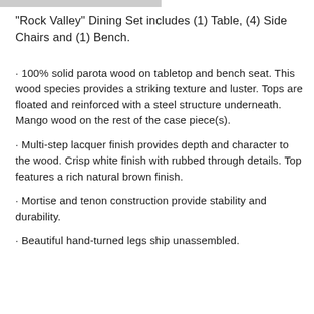"Rock Valley" Dining Set includes (1) Table, (4) Side Chairs and (1) Bench.
· 100% solid parota wood on tabletop and bench seat. This wood species provides a striking texture and luster. Tops are floated and reinforced with a steel structure underneath. Mango wood on the rest of the case piece(s).
· Multi-step lacquer finish provides depth and character to the wood. Crisp white finish with rubbed through details. Top features a rich natural brown finish.
· Mortise and tenon construction provide stability and durability.
· Beautiful hand-turned legs ship unassembled.